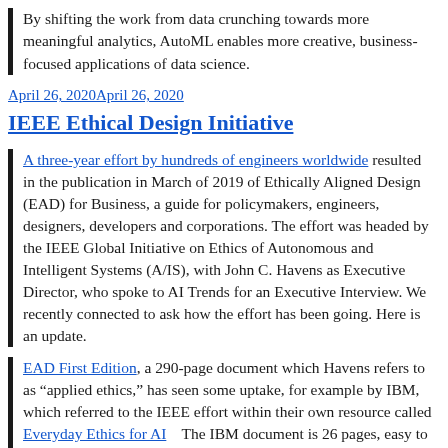By shifting the work from data crunching towards more meaningful analytics, AutoML enables more creative, business-focused applications of data science.
April 26, 2020April 26, 2020
IEEE Ethical Design Initiative
A three-year effort by hundreds of engineers worldwide resulted in the publication in March of 2019 of Ethically Aligned Design (EAD) for Business, a guide for policymakers, engineers, designers, developers and corporations. The effort was headed by the IEEE Global Initiative on Ethics of Autonomous and Intelligent Systems (A/IS), with John C. Havens as Executive Director, who spoke to AI Trends for an Executive Interview. We recently connected to ask how the effort has been going. Here is an update.
EAD First Edition, a 290-page document which Havens refers to as “applied ethics,” has seen some uptake, for example by IBM, which referred to the IEEE effort within their own resource called  Everyday Ethics for AI   The IBM document is 26 pages, easy to digest, structured into five areas